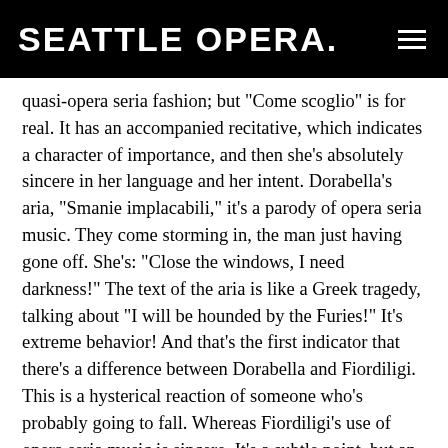SEATTLE OPERA.
quasi-opera seria fashion; but "Come scoglio" is for real. It has an accompanied recitative, which indicates a character of importance, and then she's absolutely sincere in her language and her intent. Dorabella's aria, "Smanie implacabili," it's a parody of opera seria music. They come storming in, the man just having gone off. She's: "Close the windows, I need darkness!" The text of the aria is like a Greek tragedy, talking about "I will be hounded by the Furies!" It's extreme behavior! And that's the first indicator that there's a difference between Dorabella and Fiordiligi. This is a hysterical reaction of someone who's probably going to fall. Whereas Fiordiligi's use of opera seria music is sincere. It's a subtle point, but an important point. And it's no surprise that it's actually Dorabella who has if you like a more grown-up view in Act Two, once